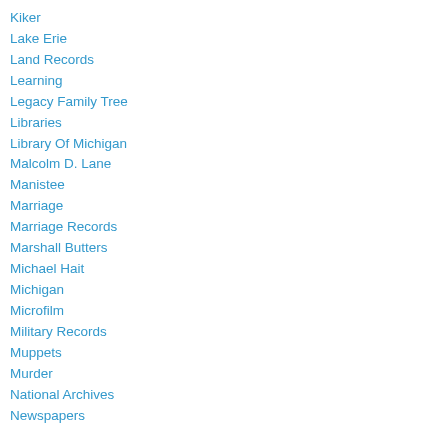Kiker
Lake Erie
Land Records
Learning
Legacy Family Tree
Libraries
Library Of Michigan
Malcolm D. Lane
Manistee
Marriage
Marriage Records
Marshall Butters
Michael Hait
Michigan
Microfilm
Military Records
Muppets
Murder
National Archives
Newspapers